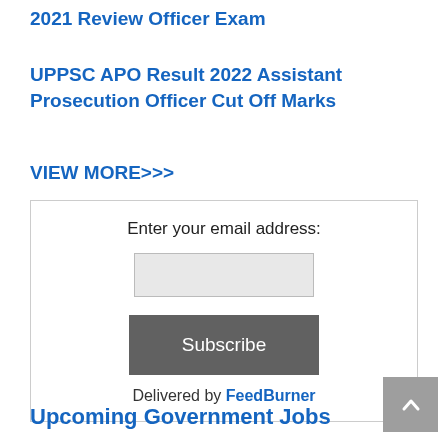2021 Review Officer Exam
UPPSC APO Result 2022 Assistant Prosecution Officer Cut Off Marks
VIEW MORE>>>
Enter your email address:
Subscribe
Delivered by FeedBurner
Upcoming Government Jobs